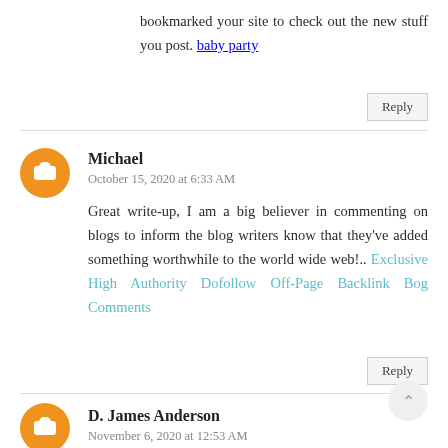bookmarked your site to check out the new stuff you post. baby party
Reply
Michael
October 15, 2020 at 6:33 AM
Great write-up, I am a big believer in commenting on blogs to inform the blog writers know that they've added something worthwhile to the world wide web!.. Exclusive High Authority Dofollow Off-Page Backlink Bog Comments
Reply
D. James Anderson
November 6, 2020 at 12:53 AM